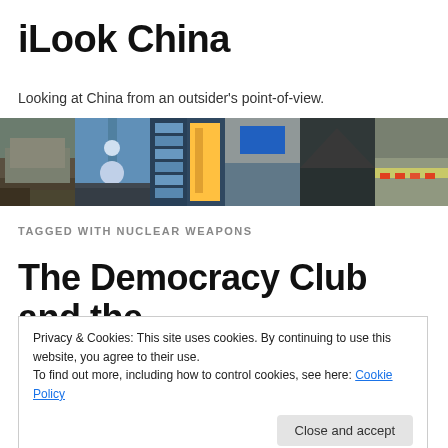iLook China
Looking at China from an outsider's point-of-view.
[Figure (photo): Banner collage of six photographs showing various scenes from China including the Great Wall, Oriental Pearl Tower, a modern building facade, a city waterfront with LED screen, a mountainous landscape, a busy urban road with traffic, and a traditional Chinese pagoda.]
TAGGED WITH NUCLEAR WEAPONS
The Democracy Club and the
Privacy & Cookies: This site uses cookies. By continuing to use this website, you agree to their use.
To find out more, including how to control cookies, see here: Cookie Policy
Close and accept